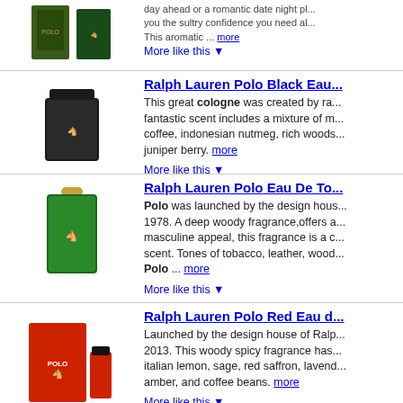[Figure (photo): Partial view of a Ralph Lauren Polo fragrance product (top cropped)]
day ahead or a romantic date night pl... you the sultry confidence you need al... This aromatic ... more
More like this ▼
Ralph Lauren Polo Black Eau...
[Figure (photo): Ralph Lauren Polo Black cologne bottle - dark/black bottle]
This great cologne was created by ra... fantastic scent includes a mixture of m... coffee, indonesian nutmeg, rich woods... juniper berry. more
More like this ▼
Ralph Lauren Polo Eau De To...
[Figure (photo): Ralph Lauren Polo Eau De Toilette - green bottle with gold cap]
Polo was launched by the design hous... 1978. A deep woody fragrance,offers a... masculine appeal, this fragrance is a c... scent. Tones of tobacco, leather, wood... Polo ... more
More like this ▼
Ralph Lauren Polo Red Eau d...
[Figure (photo): Ralph Lauren Polo Red fragrance - red box and bottle]
Launched by the design house of Ralp... 2013. This woody spicy fragrance has... italian lemon, sage, red saffron, lavend... amber, and coffee beans. more
More like this ▼
Ralph Lauren Polo Black Eau...